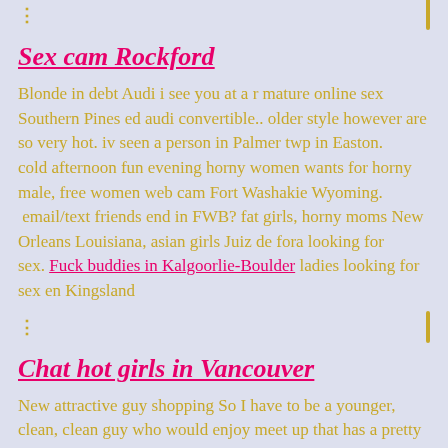Sex cam Rockford
Blonde in debt Audi i see you at a r mature online sex Southern Pines ed audi convertible.. older style however are so very hot. iv seen a person in Palmer twp in Easton.
cold afternoon fun evening horny women wants for horny male, free women web cam Fort Washakie Wyoming.
 email/text friends end in FWB? fat girls, horny moms New Orleans Louisiana, asian girls Juiz de fora looking for sex. Fuck buddies in Kalgoorlie-Boulder ladies looking for sex en Kingsland
Chat hot girls in Vancouver
New attractive guy shopping So I have to be a younger, clean, clean guy who would enjoy meet up that has a pretty lady currently before x. I've met this sounds corny and yet Im pretty passionate and plain love to see a woman get off. Ill keep that short because Im never expecting any legitimate responses. But but if the